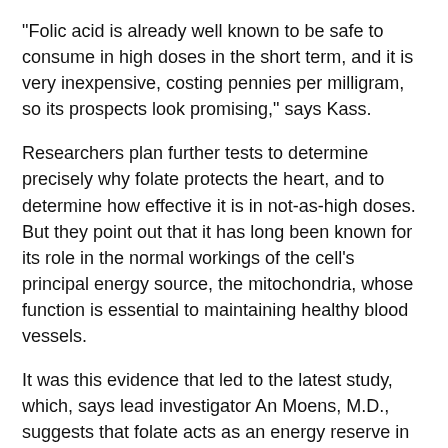"Folic acid is already well known to be safe to consume in high doses in the short term, and it is very inexpensive, costing pennies per milligram, so its prospects look promising," says Kass.
Researchers plan further tests to determine precisely why folate protects the heart, and to determine how effective it is in not-as-high doses. But they point out that it has long been known for its role in the normal workings of the cell's principal energy source, the mitochondria, whose function is essential to maintaining healthy blood vessels.
It was this evidence that led to the latest study, which, says lead investigator An Moens, M.D., suggests that folate acts as an energy reserve in the heart, "providing much needed energy for muscle contraction, in the form of ATP, at the same time the heart is being starved for oxygen-carrying blood by a blocked artery."
According to Moens, a postdoctoral cardiology research fellow at Johns Hopkins, study results showed that high